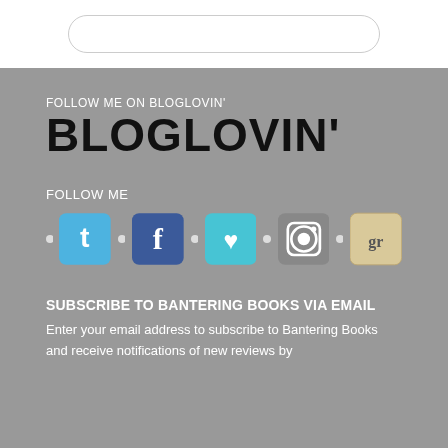[Figure (other): Search box input field with rounded border at top of page]
FOLLOW ME ON BLOGLOVIN'
BLOGLOVIN'
FOLLOW ME
[Figure (infographic): Row of 5 social media icons: Twitter, Facebook, Bloglovin, Instagram, Goodreads, separated by small dots]
SUBSCRIBE TO BANTERING BOOKS VIA EMAIL
Enter your email address to subscribe to Bantering Books and receive notifications of new reviews by